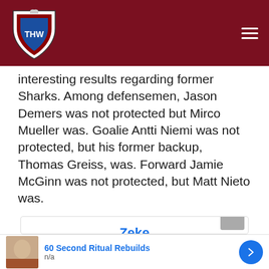THW (The Hockey Writers) - navigation header
interesting results regarding former Sharks. Among defensemen, Jason Demers was not protected but Mirco Mueller was. Goalie Antti Niemi was not protected, but his former backup, Thomas Greiss, was. Forward Jamie McGinn was not protected, but Matt Nieto was.
[Figure (other): Generic user avatar placeholder (grey silhouette) within a comment card, with commenter name 'Zeke' in blue below]
60 Second Ritual Rebuilds
n/a